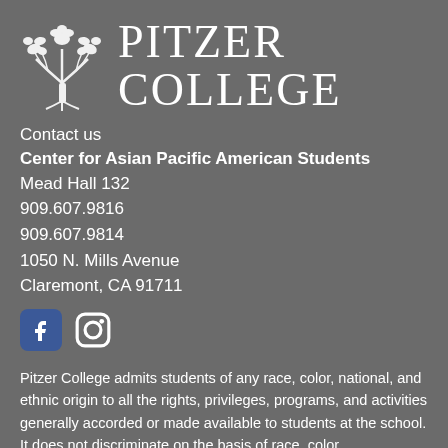[Figure (logo): Pitzer College logo with tree illustration and college name text]
Contact us
Center for Asian Pacific American Students
Mead Hall 132
909.607.9816
909.607.9814
1050 N. Mills Avenue
Claremont, CA 91711
[Figure (illustration): Facebook and Instagram social media icons]
Pitzer College admits students of any race, color, national, and ethnic origin to all the rights, privileges, programs, and activities generally accorded or made available to students at the school. It does not discriminate on the basis of race, color,